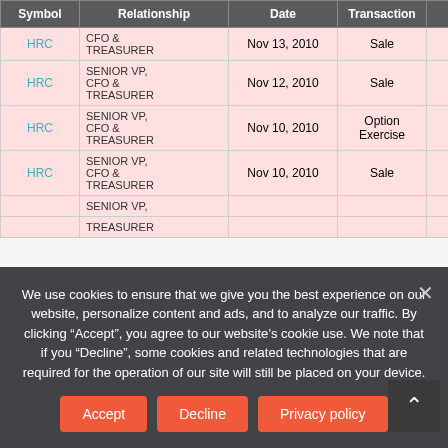| Symbol | Relationship | Date | Transaction | Value($) |
| --- | --- | --- | --- | --- |
| HRC | CFO &
TREASURER | Nov 13, 2010 | Sale | 1,699,242 |
| HRC | SENIOR VP,
CFO &
TREASURER | Nov 12, 2010 | Sale | 211,437 |
| HRC | SENIOR VP,
CFO &
TREASURER | Nov 10, 2010 | Option Exercise | 890,908 |
| HRC | SENIOR VP,
CFO &
TREASURER | Nov 10, 2010 | Sale | 1,368,012 |
| HRC | SENIOR VP,...
TREASURER |  |  |  |
We use cookies to ensure that we give you the best experience on our website, personalize content and ads, and to analyze our traffic. By clicking "Accept", you agree to our website's cookie use. We note that if you "Decline", some cookies and related technologies that are required for the operation of our site will still be placed on your device.